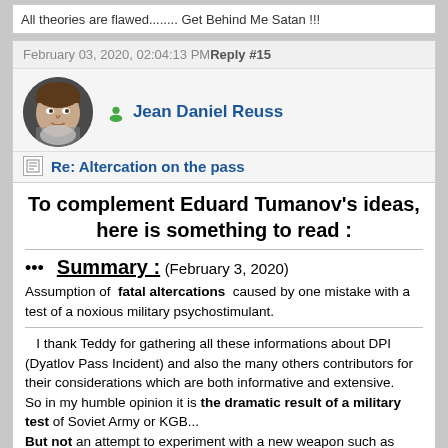All theories are flawed........ Get Behind Me Satan !!!
February 03, 2020, 02:04:13 PM  Reply #15
Jean Daniel Reuss
Re: Altercation on the pass
To complement Eduard Tumanov's ideas, here is something to read :
••• Summary : (February 3, 2020)
Assumption of fatal altercations caused by one mistake with a test of a noxious military psychostimulant.
I thank Teddy for gathering all these informations about DPI (Dyatlov Pass Incident) and also the many others contributors for their considerations which are both informative and extensive. So in my humble opinion it is the dramatic result of a military test of Soviet Army or KGB... But not an attempt to experiment with a new weapon such as bomb,